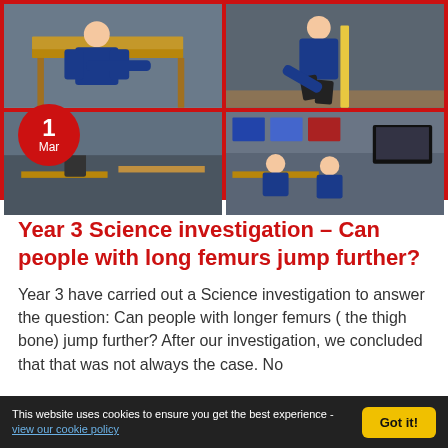[Figure (photo): Four classroom photos arranged in a 2x2 grid: top-left shows a student in blue uniform leaning over a desk, top-right shows a student in blue bending down measuring something on the floor with a ruler, bottom-left shows a classroom area, bottom-right shows students working at computers/desks in a classroom.]
Year 3 Science investigation – Can people with long femurs jump further?
Year 3 have carried out a Science investigation to answer the question: Can people with longer femurs ( the thigh bone) jump further? After our investigation, we concluded that that was not always the case. No
This website uses cookies to ensure you get the best experience - view our cookie policy